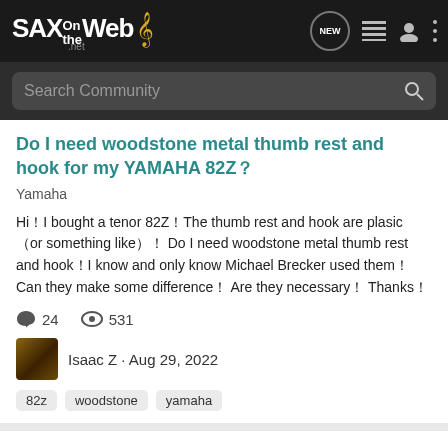SAX on the Web
Do I need woodstone metal thumb rest and hook for my YAMAHA 82Z？
Yamaha
Hi！I bought a tenor 82Z！The thumb rest and hook are plasic （or something like）！ Do I need woodstone metal thumb rest and hook！I know and only know Michael Brecker used them！ Can they make some difference！ Are they necessary！ Thanks！
💬 24   👁 531
Isaac Z · Aug 29, 2022
82z   woodstone   yamaha
A Tale of 2 Necks & 1 Yamaha 82Z tenor